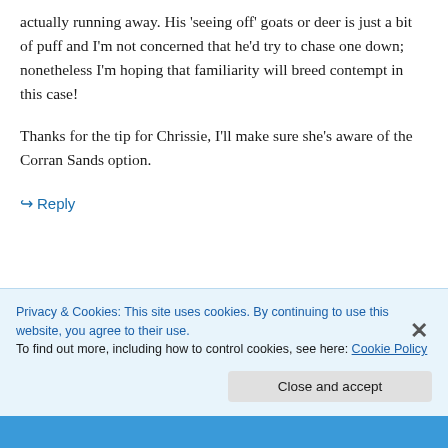actually running away. His 'seeing off' goats or deer is just a bit of puff and I'm not concerned that he'd try to chase one down; nonetheless I'm hoping that familiarity will breed contempt in this case!
Thanks for the tip for Chrissie, I'll make sure she's aware of the Corran Sands option.
↳ Reply
Privacy & Cookies: This site uses cookies. By continuing to use this website, you agree to their use. To find out more, including how to control cookies, see here: Cookie Policy
Close and accept